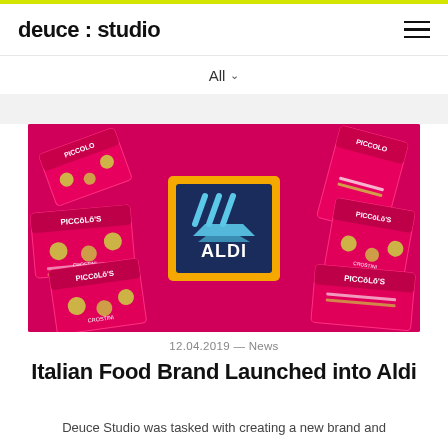deuce : studio
All
[Figure (photo): Piccolo's branded food packaging arranged around an ALDI logo on a bright pink/magenta background. Multiple pink boxes with 'Piccolo's' branding and crostini product images surround a central ALDI logo (navy blue square with yellow border containing stylized blue lines and triangle forming the ALDI wordmark).]
12.04.2019 — News
Italian Food Brand Launched into Aldi
Deuce Studio was tasked with creating a new brand and